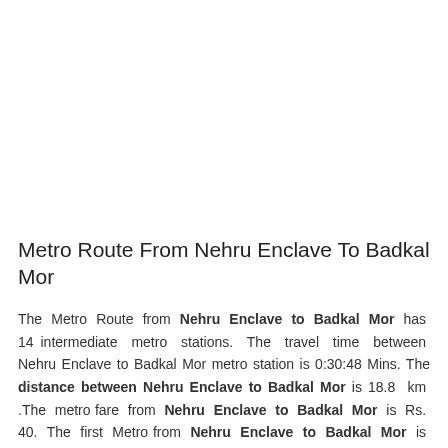Metro Route From Nehru Enclave To Badkal Mor
The Metro Route from Nehru Enclave to Badkal Mor has 14 intermediate metro stations. The travel time between Nehru Enclave to Badkal Mor metro station is 0:30:48 Mins. The distance between Nehru Enclave to Badkal Mor is 18.8 km .The metro fare from Nehru Enclave to Badkal Mor is Rs. 40. The first Metro from Nehru Enclave to Badkal Mor is 5:30:00 AM and Last Metro is at 11:15 PM. Check travel time, ticket fare, contact number,